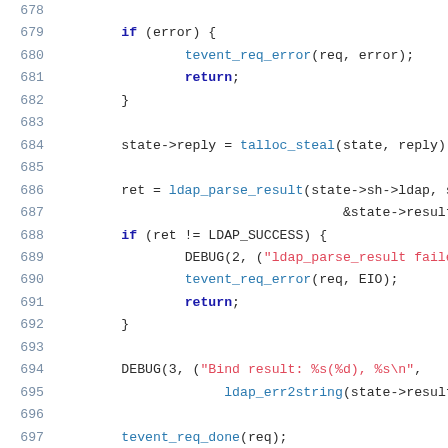[Figure (screenshot): Source code listing (C language) with line numbers 678–701, showing LDAP bind result parsing logic including error handling, tevent_req_error, ldap_parse_result, DEBUG macros, and static int simple_bind_recv function signature.]